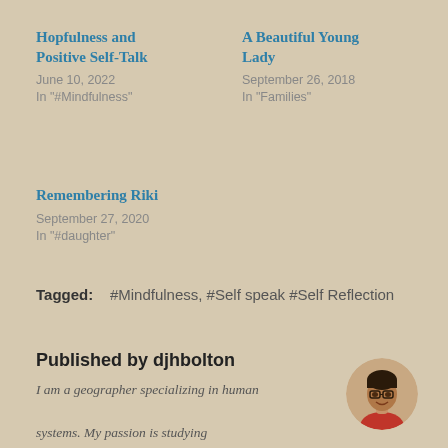Hopfulness and Positive Self-Talk
June 10, 2022
In "#Mindfulness"
A Beautiful Young Lady
September 26, 2018
In "Families"
Remembering Riki
September 27, 2020
In "#daughter"
Tagged:   #Mindfulness,  #Self speak #Self Reflection
Published by djhbolton
I am a geographer specializing in human systems. My passion is studying
[Figure (photo): Circular avatar photo of a woman with glasses, smiling, wearing a red top]